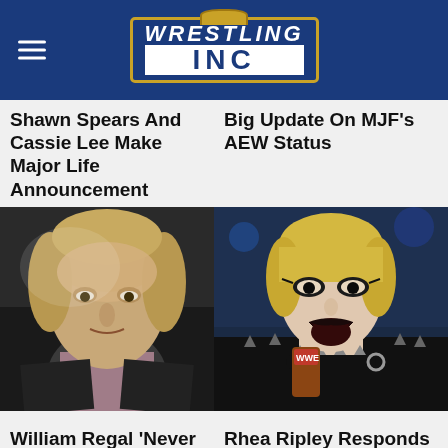Wrestling Inc
Shawn Spears And Cassie Lee Make Major Life Announcement
Big Update On MJF's AEW Status
[Figure (photo): Close-up photo of William Regal looking surprised or thoughtful, wearing a suit]
[Figure (photo): Photo of Rhea Ripley yelling/screaming into a WWE microphone, wearing dark makeup and a spiked collar]
William Regal 'Never Liked' Top AEW Star
Rhea Ripley Responds To AEW Star's Quip About Raw Segment